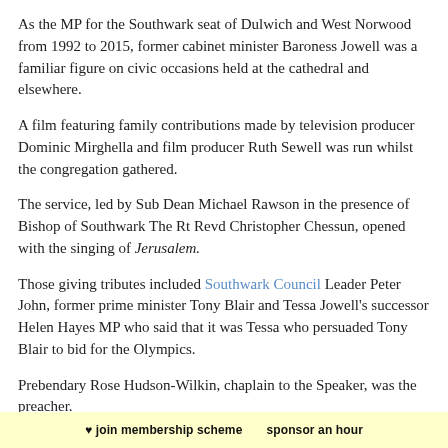As the MP for the Southwark seat of Dulwich and West Norwood from 1992 to 2015, former cabinet minister Baroness Jowell was a familiar figure on civic occasions held at the cathedral and elsewhere.
A film featuring family contributions made by television producer Dominic Mirghella and film producer Ruth Sewell was run whilst the congregation gathered.
The service, led by Sub Dean Michael Rawson in the presence of Bishop of Southwark The Rt Revd Christopher Chessun, opened with the singing of Jerusalem.
Those giving tributes included Southwark Council Leader Peter John, former prime minister Tony Blair and Tessa Jowell's successor Helen Hayes MP who said that it was Tessa who persuaded Tony Blair to bid for the Olympics.
Prebendary Rose Hudson-Wilkin, chaplain to the Speaker, was the preacher.
Lambeth Council leader Lib Peck read the first lesson.
Earlier in the day it was announced that a walkway in the Olympic Park
♥ join membership scheme   sponsor an hour